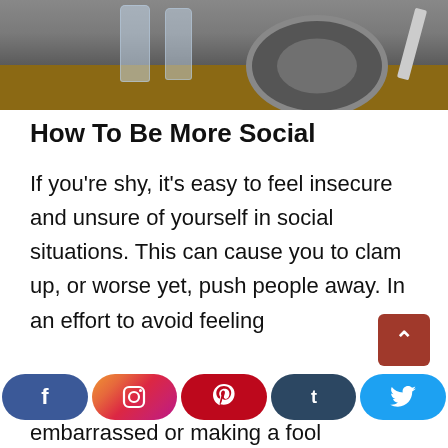[Figure (photo): Photo of a restaurant table setting with glasses and a plate with napkin, shot from above on a wooden surface]
How To Be More Social
If you're shy, it's easy to feel insecure and unsure of yourself in social situations. This can cause you to clam up, or worse yet, push people away. In an effort to avoid feeling embarrassed or making a fool
[Figure (infographic): Social media sharing bar with Facebook, Instagram, Pinterest, Tumblr, and Twitter buttons at the bottom of the page]